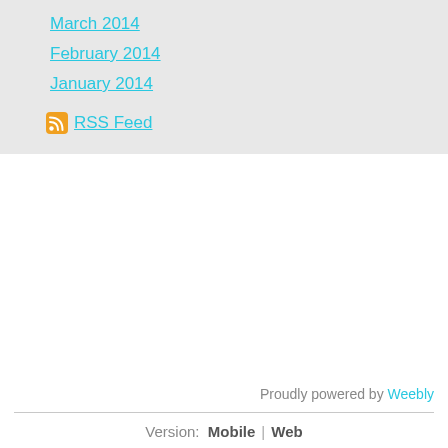March 2014
February 2014
January 2014
RSS Feed
Proudly powered by Weebly
Version: Mobile | Web